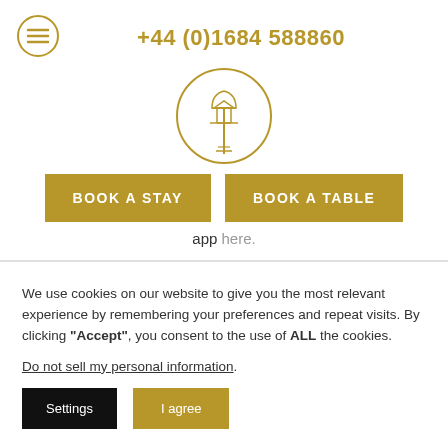[Figure (logo): Hamburger menu icon (three horizontal lines) inside a circle, gold/olive color]
+44 (0)1684 588860
[Figure (logo): Street lamp post inside a circle, gold/olive outline logo]
BOOK A STAY
BOOK A TABLE
app here.
We use cookies on our website to give you the most relevant experience by remembering your preferences and repeat visits. By clicking “Accept”, you consent to the use of ALL the cookies.
Do not sell my personal information.
Settings
I agree